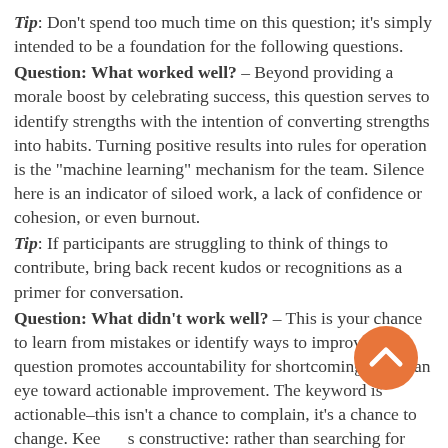Tip: Don't spend too much time on this question; it's simply intended to be a foundation for the following questions.
Question: What worked well? – Beyond providing a morale boost by celebrating success, this question serves to identify strengths with the intention of converting strengths into habits. Turning positive results into rules for operation is the "machine learning" mechanism for the team. Silence here is an indicator of siloed work, a lack of confidence or cohesion, or even burnout.
Tip: If participants are struggling to think of things to contribute, bring back recent kudos or recognitions as a primer for conversation.
Question: What didn't work well? – This is your chance to learn from mistakes or identify ways to improve. This question promotes accountability for shortcomings, with an eye toward actionable improvement. The keyword is actionable–this isn't a chance to complain, it's a chance to change. Keep it constructive: rather than searching for blame, search for improvements.